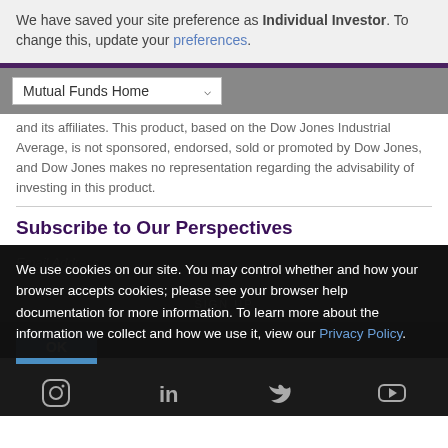We have saved your site preference as Individual Investor. To change this, update your preferences.
and its affiliates. This product, based on the Dow Jones Industrial Average, is not sponsored, endorsed, sold or promoted by Dow Jones, and Dow Jones makes no representation regarding the advisability of investing in this product.
Subscribe to Our Perspectives
We use cookies on our site. You may control whether and how your browser accepts cookies; please see your browser help documentation for more information. To learn more about the information we collect and how we use it, view our Privacy Policy.